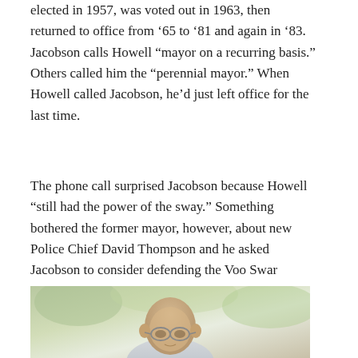elected in 1957, was voted out in 1963, then returned to office from ‘65 to ‘81 and again in ‘83. Jacobson calls Howell “mayor on a recurring basis.” Others called him the “perennial mayor.” When Howell called Jacobson, he’d just left office for the last time.
The phone call surprised Jacobson because Howell “still had the power of the sway.” Something bothered the former mayor, however, about new Police Chief David Thompson and he asked Jacobson to consider defending the Voo Swar against him.
[Figure (photo): Photograph of an elderly bald man wearing glasses, photographed outdoors with blurred green foliage in the background.]